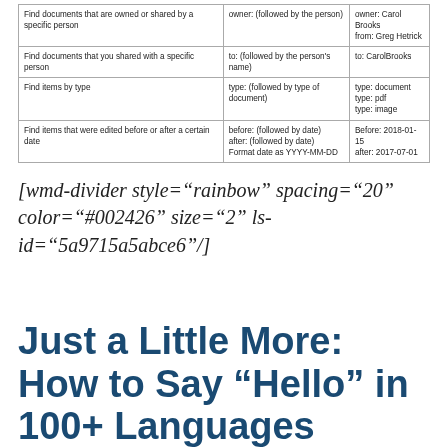|  |  |  |
| --- | --- | --- |
| Find documents that are owned or shared by a specific person | owner: (followed by the person) | owner: Carol Brooks
from: Greg Hetrick |
| Find documents that you shared with a specific person | to: (followed by the person's name) | to: CarolBrooks |
| Find items by type | type: (followed by type of document) | type: document
type: pdf
type: image |
| Find items that were edited before or after a certain date | before: (followed by date)
after: (followed by date)
Format date as YYYY-MM-DD | Before: 2018-01-15
after: 2017-07-01 |
[wmd-divider style="rainbow" spacing="20" color="#002426" size="2" ls-id="5a9715a5abce6"/]
Just a Little More: How to Say “Hello” in 100+ Languages